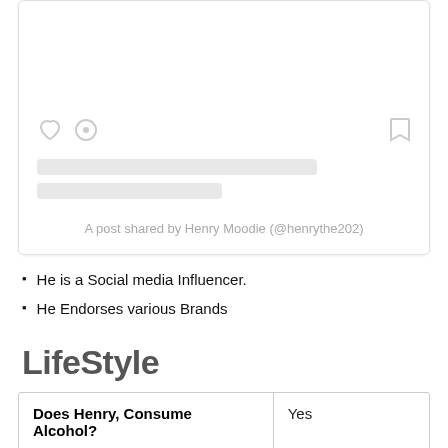[Figure (screenshot): A social media post embed card (Instagram-style) with placeholder content: heart and comment icons on the left, bookmark icon on the right, two gray placeholder text lines, and attribution text 'A post shared by Henry Moodie (@henrythe202)']
He is a Social media Influencer.
He Endorses various Brands
LifeStyle
| Does Henry, Consume Alcohol? | Yes |